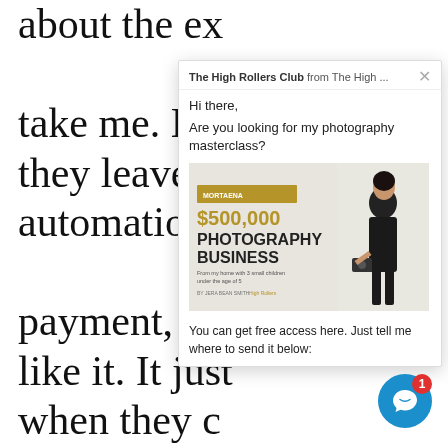about the extra time that would take me. But they leave the automation t payment, and like it. It just d when they co ready. And th plans, but a b And if they pay, in full, they leave and place their order. If they've made one. If not, I do their album prod send it out, and give them their
[Figure (screenshot): A popup chat widget showing 'The High Rollers Club from The High...' with a message 'Hi there, Are you looking for my photography masterclass?' and an image of a book titled '$500,000 Photography Business' with a woman holding a camera, followed by text 'You can get free access here. Just tell me where to send it below:']